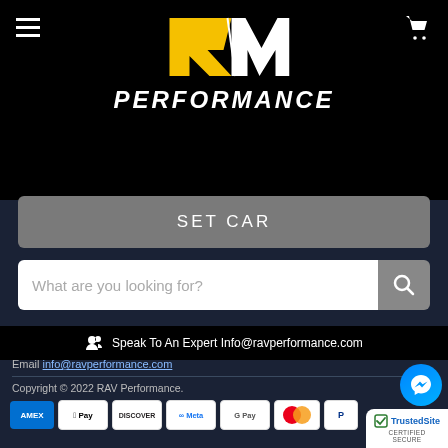[Figure (logo): RAV Performance logo with yellow R and white AV letters, and PERFORMANCE text in white italic bold below]
SET CAR
What are you looking for?
Speak To An Expert Info@ravperformance.com
Email info@ravperformance.com
Copyright © 2022 RAV Performance.
[Figure (infographic): Payment method icons: AMEX, Apple Pay, Discover, Meta Pay, Google Pay, Mastercard, PayPal, Venmo, Visa]
[Figure (logo): TrustedSite Certified Secure badge]